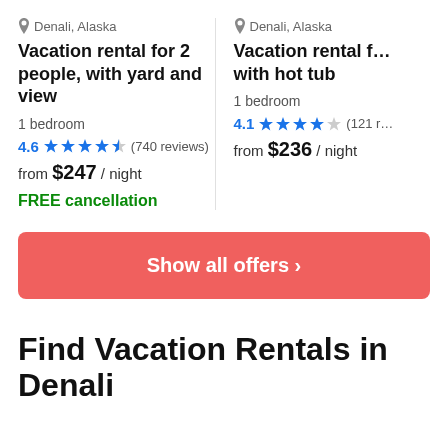Denali, Alaska
Vacation rental for 2 people, with yard and view
1 bedroom
4.6 ★★★★½ (740 reviews)
from $247 / night
FREE cancellation
Denali, Alaska
Vacation rental for 2 people, with hot tub
1 bedroom
4.1 ★★★★☆ (121 r…)
from $236 / night
Show all offers ›
Find Vacation Rentals in Denali